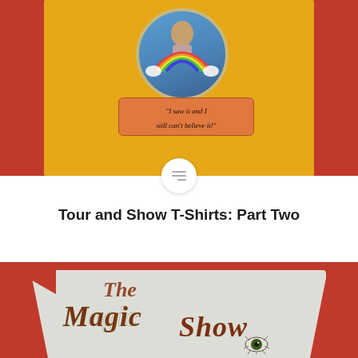[Figure (photo): Yellow t-shirt on red background, with circular graphic showing a rainbow and a figure, and an orange badge reading "I saw it and I still can't believe it!"]
Tour and Show T-Shirts: Part Two
[Figure (photo): White/grey t-shirt on red background with 'The Magic Show' printed in decorative retro lettering with an eye graphic]